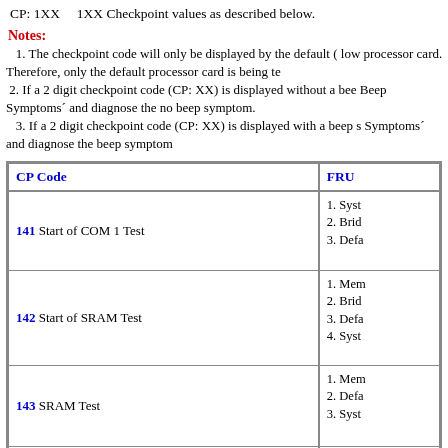CP: 1XX    1XX Checkpoint values as described below.
Notes:
1. The checkpoint code will only be displayed by the default ( low... processor card. Therefore, only the default processor card is being te...
2. If a 2 digit checkpoint code (CP: XX) is displayed without a bee... Beep Symptoms' and diagnose the no beep symptom.
3. If a 2 digit checkpoint code (CP: XX) is displayed with a beep s... Symptoms' and diagnose the beep symptom
| CP Code | FRU |
| --- | --- |
| 141 Start of COM 1 Test | 1. Syst
2. Brid
3. Defa |
| 142 Start of SRAM Test | 1. Mem
2. Brid
3. Defa
4. Syst |
| 143 SRAM Test | 1. Mem
2. Defa
3. Syst |
|  | 1. Mem |